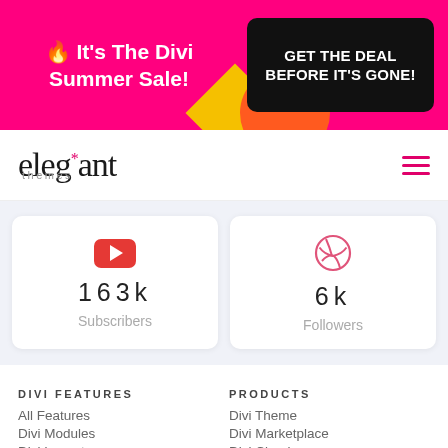[Figure (infographic): Hot pink promotional banner: emoji flame + 'It's The Divi Summer Sale!' on left, black rounded-rectangle button 'GET THE DEAL BEFORE IT'S GONE!' on right, decorative yellow and orange shapes]
[Figure (logo): Elegant Themes logo: 'elegant*' in serif font with pink asterisk, 'themes' subtitle below]
[Figure (infographic): Hamburger menu icon in pink]
[Figure (infographic): Two social media stat cards: YouTube card showing 163k Subscribers; Dribbble card showing 6k Followers]
DIVI FEATURES
All Features
Divi Modules
Divi Layouts
No-Code Builder
Workflow
PRODUCTS
Divi Theme
Divi Marketplace
Divi Cloud
Divi Hosting
Extra Theme